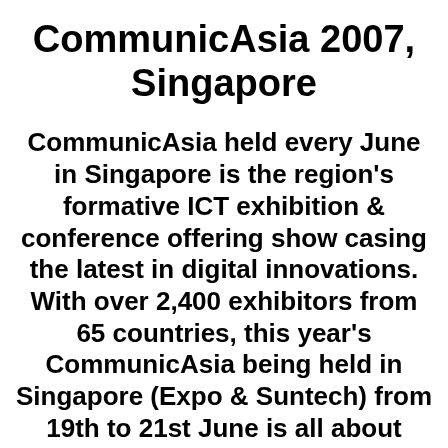CommunicAsia 2007, Singapore
CommunicAsia held every June in Singapore is the region's formative ICT exhibition & conference offering show casing the latest in digital innovations. With over 2,400 exhibitors from 65 countries, this year's CommunicAsia being held in Singapore (Expo & Suntech) from 19th to 21st June is all about digital convergence and interactive digital media (IDM). CommunicAsia2007 show cases a wide spectrum of technology such as 3G/GPRS/HSDPA, Broadband Wireless, WiFi & WiMAX, IPTV, Mobile and Fixed